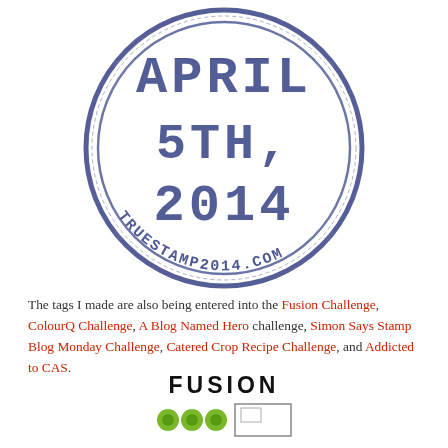[Figure (illustration): A circular rubber stamp graphic in dark blue ink showing 'APRIL 5TH, 2014' in the center with 'TRUESTAMP2014.COM' around the bottom curved edge. The stamp has a distressed/inked appearance with a double ring border.]
The tags I made are also being entered into the Fusion Challenge, ColourQ Challenge, A Blog Named Hero challenge, Simon Says Stamp Blog Monday Challenge, Catered Crop Recipe Challenge, and Addicted to CAS.
[Figure (logo): Fusion Challenge badge/logo showing the word FUSION in bold black letters with green circular icons below and a card design sketch to the right.]